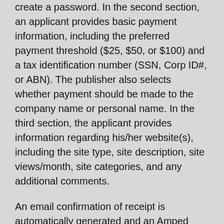create a password. In the second section, an applicant provides basic payment information, including the preferred payment threshold ($25, $50, or $100) and a tax identification number (SSN, Corp ID#, or ABN). The publisher also selects whether payment should be made to the company name or personal name. In the third section, the applicant provides information regarding his/her website(s), including the site type, site description, site views/month, site categories, and any additional comments.
An email confirmation of receipt is automatically generated and an Amped Media representative typically calls the applicant within one or two business days to verify the account. During this phone call, the representative may ask about the nature of the applicant's website, how he/she intends on promoting Amped affiliate programs, and how he/she heard about Amped.